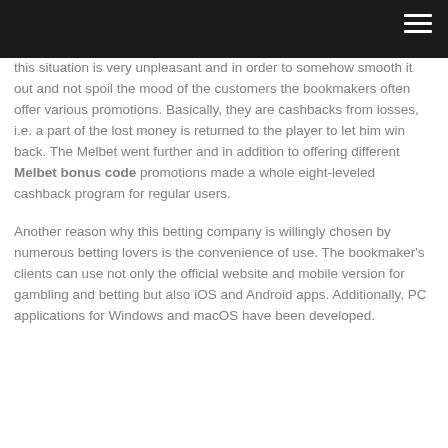[navigation bar with hamburger menu]
this situation is very unpleasant and in order to somehow smooth it out and not spoil the mood of the customers the bookmakers often offer various promotions. Basically, they are cashbacks from losses, i.e. a part of the lost money is returned to the player to let him win back. The Melbet went further and in addition to offering different Melbet bonus code promotions made a whole eight-leveled cashback program for regular users.
Another reason why this betting company is willingly chosen by numerous betting lovers is the convenience of use. The bookmaker's clients can use not only the official website and mobile version for gambling and betting but also iOS and Android apps. Additionally, PC applications for Windows and macOS have been developed.